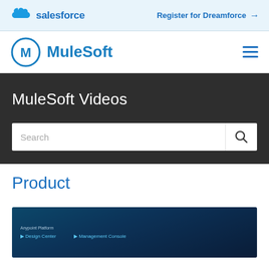salesforce   Register for Dreamforce →
[Figure (logo): MuleSoft logo with circular M icon and MuleSoft wordmark, plus hamburger menu icon]
MuleSoft Videos
Search
Product
[Figure (screenshot): MuleSoft Anypoint Platform video thumbnail showing Design Center and Management Console options on dark background]